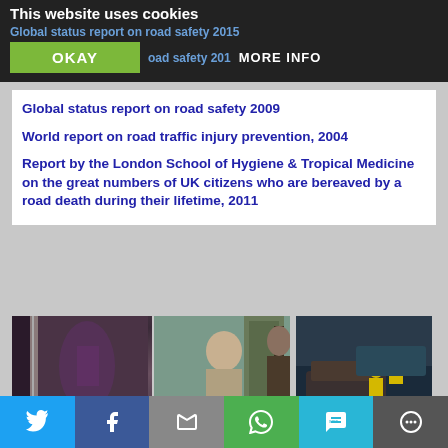This website uses cookies
Global status report on road safety 2015
OKAY   road safety 201   MORE INFO
Global status report on road safety 2009
World report on road traffic injury prevention, 2004
Report by the London School of Hygiene & Tropical Medicine on the great numbers of UK citizens who are bereaved by a road death during their lifetime, 2011
[Figure (photo): Person peeking through doorway]
Karen Morrow on
[Figure (photo): Elderly woman standing by grandfather clock]
Caroline, Ingrid and
[Figure (photo): Emergency responders at crash scene]
Crash Scene
Twitter | Facebook | Email | WhatsApp | SMS | More